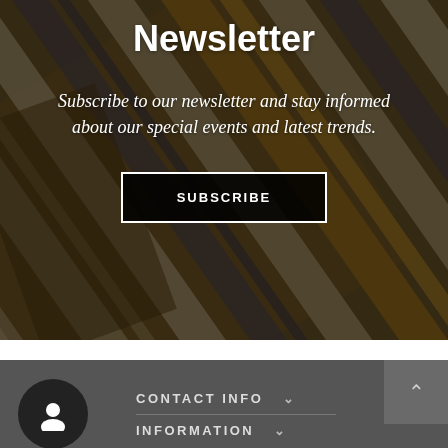[Figure (photo): Background photo of striped fabric/textile with golden yellow, navy blue, and cream stripes, dimmed with dark overlay]
Newsletter
Subscribe to our newsletter and stay informed about our special events and latest trends.
SUBSCRIBE
CONTACT INFO
INFORMATION